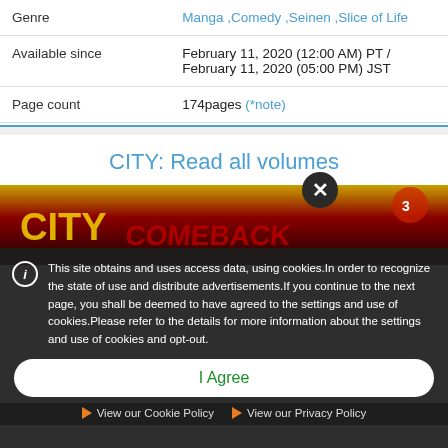| Field | Value |
| --- | --- |
| Genre | Manga ,Comedy ,Seinen ,Slice of Life |
| Available since | February 11, 2020 (12:00 AM) PT / February 11, 2020 (05:00 PM) JST |
| Page count | 174pages (*note) |
CITY: Read all volumes
[Figure (screenshot): Manga book cover image partially visible]
This site obtains and uses access data, using cookies.In order to recognize the state of use and distribute advertisements.If you continue to the next page, you shall be deemed to have agreed to the settings and use of cookies.Please refer to the details for more information about the settings and use of cookies and opt-out.
I Agree
View our Cookie Policy   View our Privacy Policy